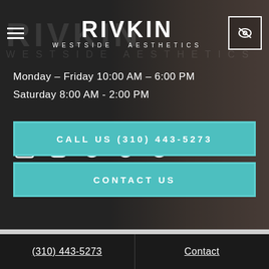[Figure (photo): Hero section with dark overlay over a woman's face in the background. Rivkin Westside Aesthetics brand header with hamburger menu and eye icon button.]
Monday - Friday 10:00 AM – 6:00 PM
Saturday 8:00 AM - 2:00 PM
[Figure (other): Social media icons row: Facebook, Instagram, Pinterest, Twitter, Yelp, YouTube]
CALL US (310) 443-5273
CONTACT US
(310) 443-5273    Contact